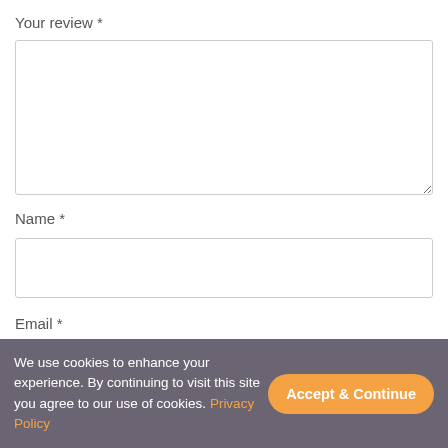Your review *
[Figure (screenshot): Empty textarea input field for review text]
Name *
[Figure (screenshot): Empty single-line input field for name]
Email *
[Figure (screenshot): Empty single-line input field for email]
[Figure (screenshot): reCAPTCHA widget with checkbox and 'I'm not a robot' text]
We use cookies to enhance your experience. By continuing to visit this site you agree to our use of cookies. Privacy Policy